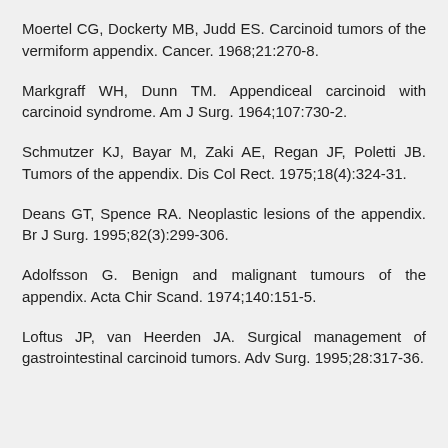Moertel CG, Dockerty MB, Judd ES. Carcinoid tumors of the vermiform appendix. Cancer. 1968;21:270-8.
Markgraff WH, Dunn TM. Appendiceal carcinoid with carcinoid syndrome. Am J Surg. 1964;107:730-2.
Schmutzer KJ, Bayar M, Zaki AE, Regan JF, Poletti JB. Tumors of the appendix. Dis Col Rect. 1975;18(4):324-31.
Deans GT, Spence RA. Neoplastic lesions of the appendix. Br J Surg. 1995;82(3):299-306.
Adolfsson G. Benign and malignant tumours of the appendix. Acta Chir Scand. 1974;140:151-5.
Loftus JP, van Heerden JA. Surgical management of gastrointestinal carcinoid tumors. Adv Surg. 1995;28:317-36.